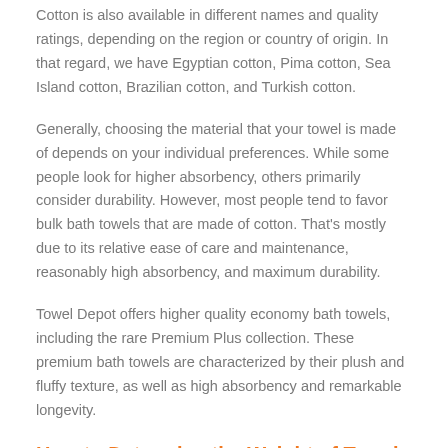Cotton is also available in different names and quality ratings, depending on the region or country of origin. In that regard, we have Egyptian cotton, Pima cotton, Sea Island cotton, Brazilian cotton, and Turkish cotton.
Generally, choosing the material that your towel is made of depends on your individual preferences. While some people look for higher absorbency, others primarily consider durability. However, most people tend to favor bulk bath towels that are made of cotton. That’s mostly due to its relative ease of care and maintenance, reasonably high absorbency, and maximum durability.
Towel Depot offers higher quality economy bath towels, including the rare Premium Plus collection. These premium bath towels are characterized by their plush and fluffy texture, as well as high absorbency and remarkable longevity.
How to Determine the Weight of Towels
Towel weight is determined by measuring the thread count. Knowing what your wholesale bath towel weighs is crucial, as the